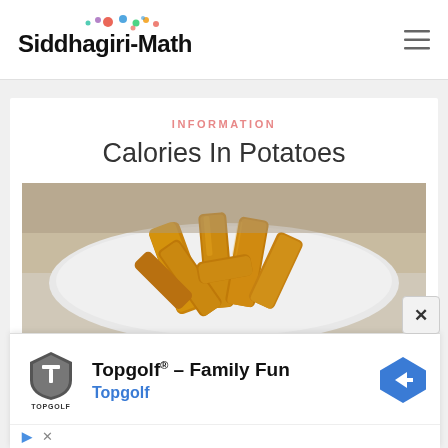Siddhagiri-Math
INFORMATION
Calories In Potatoes
[Figure (photo): Plate of golden fried potato wedges on a white plate]
[Figure (infographic): Advertisement banner: Topgolf® - Family Fun, Topgolf with logo and navigation arrow icon]